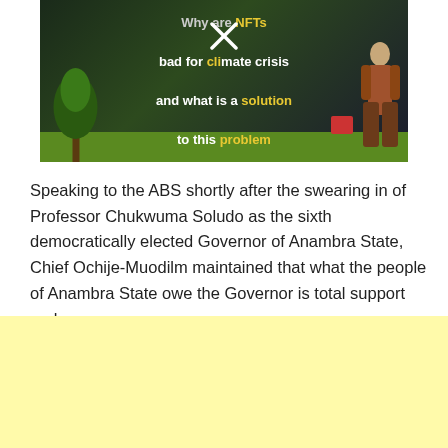[Figure (screenshot): Video thumbnail with dark background showing text: 'Why are NFTs bad for climate crisis and what is a solution to this problem' with yellow highlighted words and an X overlay symbol. Green tree and human figure silhouettes visible.]
Speaking to the ABS shortly after the swearing in of Professor Chukwuma Soludo as the sixth democratically elected Governor of Anambra State, Chief Ochije-Muodilm maintained that what the people of Anambra State owe the Governor is total support and prayers.